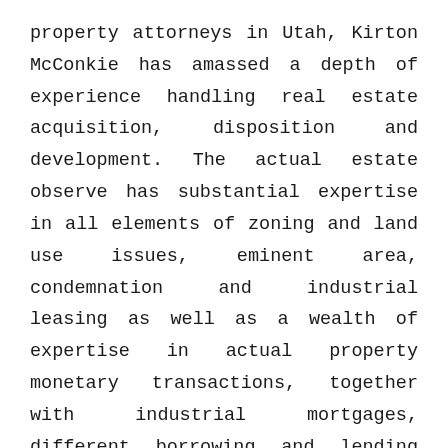property attorneys in Utah, Kirton McConkie has amassed a depth of experience handling real estate acquisition, disposition and development. The actual estate observe has substantial expertise in all elements of zoning and land use issues, eminent area, condemnation and industrial leasing as well as a wealth of expertise in actual property monetary transactions, together with industrial mortgages, different borrowing and lending transactions, workouts, loan modifications, refinancings and foreclosures.
Whether or not you're inquisitive about taking a three hour course specializing in property management laws, a 12 hour course for new brokers, or an 18 hour continuing schooling bundle, we provide an array of applications to